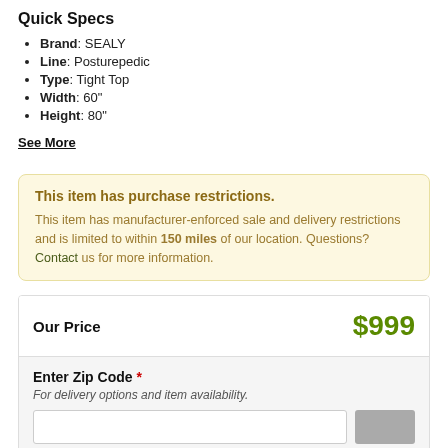Quick Specs
Brand: SEALY
Line: Posturepedic
Type: Tight Top
Width: 60"
Height: 80"
See More
This item has purchase restrictions. This item has manufacturer-enforced sale and delivery restrictions and is limited to within 150 miles of our location. Questions? Contact us for more information.
| Our Price | $999 |
| --- | --- |
Enter Zip Code * For delivery options and item availability.